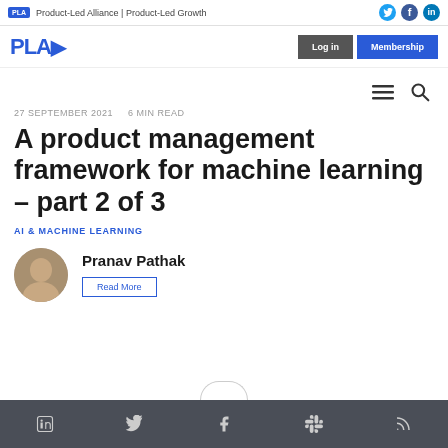PLA | Product-Led Alliance | Product-Led Growth
PLA | Log in | Membership
27 SEPTEMBER 2021   6 MIN READ
A product management framework for machine learning – part 2 of 3
AI & MACHINE LEARNING
Pranav Pathak
Read More
Social share icons: LinkedIn, Twitter, Facebook, Slack, RSS